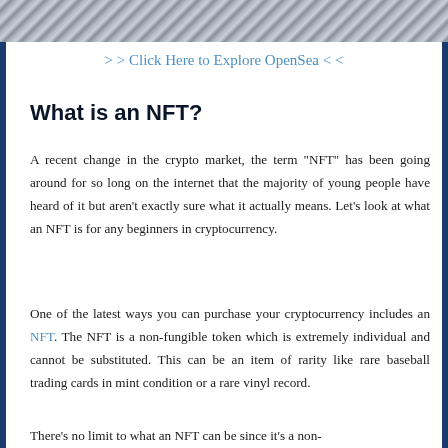[Figure (photo): Partial image strip at top of page showing a monochrome/grayscale image, appears to be an engraving or detailed illustration]
> > Click Here to Explore OpenSea < <
What is an NFT?
A recent change in the crypto market, the term “NFT” has been going around for so long on the internet that the majority of young people have heard of it but aren’t exactly sure what it actually means. Let’s look at what an NFT is for any beginners in cryptocurrency.
One of the latest ways you can purchase your cryptocurrency includes an NFT. The NFT is a non-fungible token which is extremely individual and cannot be substituted. This can be an item of rarity like rare baseball trading cards in mint condition or a rare vinyl record.
There’s no limit to what an NFT can be since it’s a non-